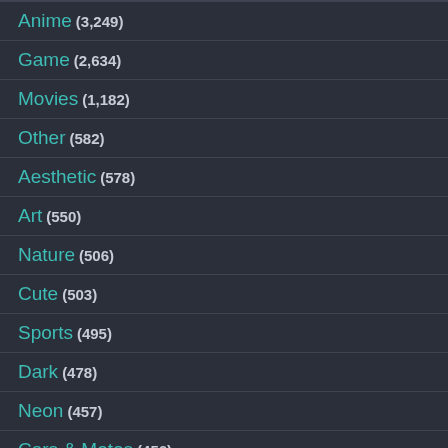Anime (3,249)
Game (2,634)
Movies (1,182)
Other (582)
Aesthetic (578)
Art (550)
Nature (506)
Cute (503)
Sports (495)
Dark (478)
Neon (457)
Cars & Motos (456)
Dope (453)
Quote (437)